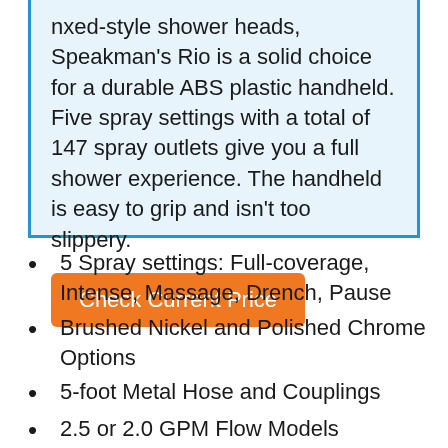nxed-style shower heads, Speakman's Rio is a solid choice for a durable ABS plastic handheld. Five spray settings with a total of 147 spray outlets give you a full shower experience. The handheld is easy to grip and isn't too slippery.
Check Current Price
5 Spray settings: Full-coverage, Intense, Massage, Drench, Pause
Brushed Nickel and Polished Chrome Options
5-foot Metal Hose and Couplings
2.5 or 2.0 GPM Flow Models